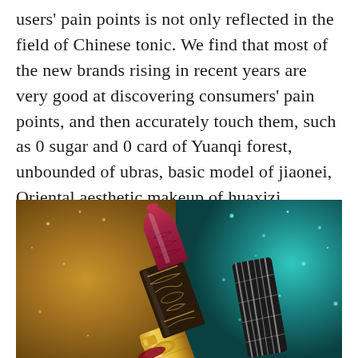users' pain points is not only reflected in the field of Chinese tonic. We find that most of the new brands rising in recent years are very good at discovering consumers' pain points, and then accurately touch them, such as 0 sugar and 0 card of Yuanqi forest, unbounded of ubras, basic model of jiaonei, Oriental aesthetic makeup of huaxizi,,,,,
[Figure (photo): Close-up photo of an ornate red lipstick with intricate embossed floral/dragon pattern on the casing, displayed against a golden and teal glittery background. The lipstick appears to be a luxury Chinese cosmetic product (Huaxizi style).]